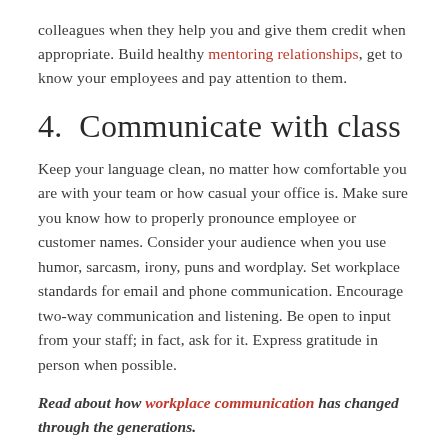colleagues when they help you and give them credit when appropriate. Build healthy mentoring relationships, get to know your employees and pay attention to them.
4.  Communicate with class
Keep your language clean, no matter how comfortable you are with your team or how casual your office is. Make sure you know how to properly pronounce employee or customer names. Consider your audience when you use humor, sarcasm, irony, puns and wordplay. Set workplace standards for email and phone communication. Encourage two-way communication and listening. Be open to input from your staff; in fact, ask for it. Express gratitude in person when possible.
Read about how workplace communication has changed through the generations.